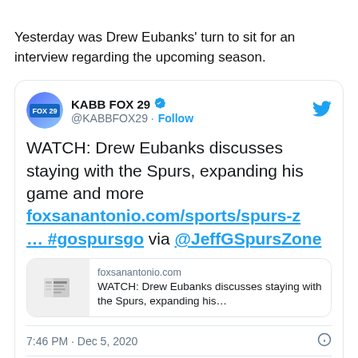Yesterday was Drew Eubanks' turn to sit for an interview regarding the upcoming season.
[Figure (screenshot): Embedded tweet from @KABBFOX29 (KABB FOX 29) with verified badge. Tweet text: 'WATCH: Drew Eubanks discusses staying with the Spurs, expanding his game and more foxsanantonio.com/sports/spurs-z… #gospursgo via @JeffGSpursZone'. Includes a link preview card for foxsanantonio.com. Timestamp: 7:46 PM · Dec 5, 2020. Shows 2 likes, Reply, and Copy link actions.]